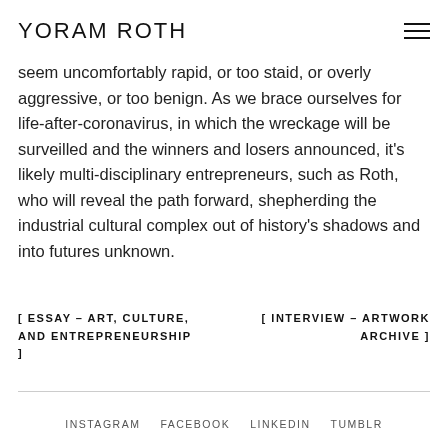YORAM ROTH
seem uncomfortably rapid, or too staid, or overly aggressive, or too benign. As we brace ourselves for life-after-coronavirus, in which the wreckage will be surveilled and the winners and losers announced, it's likely multi-disciplinary entrepreneurs, such as Roth, who will reveal the path forward, shepherding the industrial cultural complex out of history's shadows and into futures unknown.
[ ESSAY – ART, CULTURE, AND ENTREPRENEURSHIP ]
[ INTERVIEW – ARTWORK ARCHIVE ]
INSTAGRAM   FACEBOOK   LINKEDIN   TUMBLR